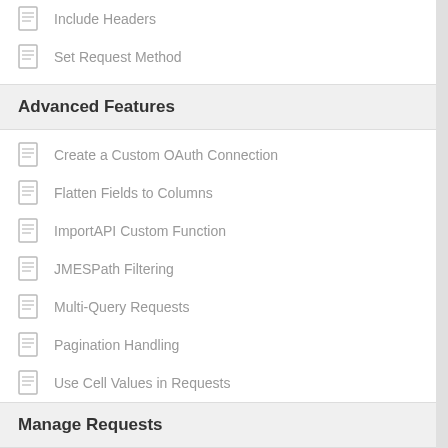Include Headers
Set Request Method
Advanced Features
Create a Custom OAuth Connection
Flatten Fields to Columns
ImportAPI Custom Function
JMESPath Filtering
Multi-Query Requests
Pagination Handling
Use Cell Values in Requests
View Raw API Response
Manage Requests